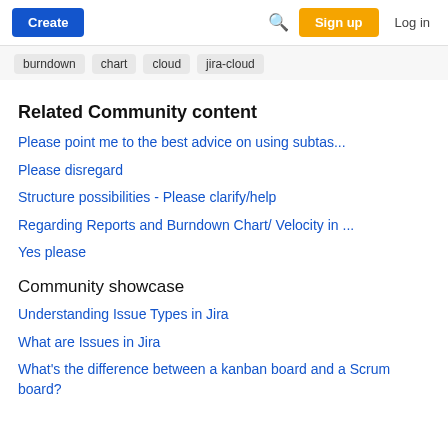Create | Search | Sign up | Log in
burndown
chart
cloud
jira-cloud
Related Community content
Please point me to the best advice on using subtas...
Please disregard
Structure possibilities - Please clarify/help
Regarding Reports and Burndown Chart/ Velocity in ...
Yes please
Community showcase
Understanding Issue Types in Jira
What are Issues in Jira
What's the difference between a kanban board and a Scrum board?